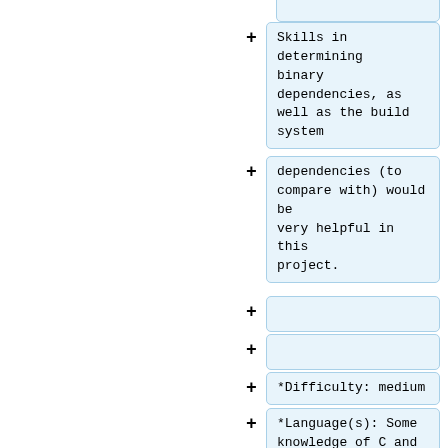Skills in determining binary dependencies, as well as the build system
dependencies (to compare with) would be very helpful in this project.
*Difficulty: medium
*Language(s): Some knowledge of C and python would be helpful
*Possible Mentors: Andrew Bartlett